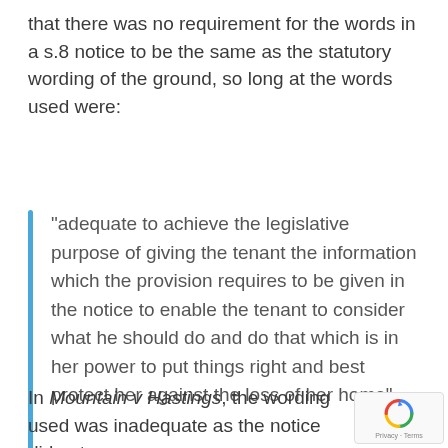that there was no requirement for the words in a s.8 notice to be the same as the statutory wording of the ground, so long at the words used were:
“adequate to achieve the legislative purpose of giving the tenant the information which the provision requires to be given in the notice to enable the tenant to consider what he should do and do that which is in her power to put things right and best protect her against the loss of her home”.
In Mountain v Hastings, the wording used was inadequate as the notice did not